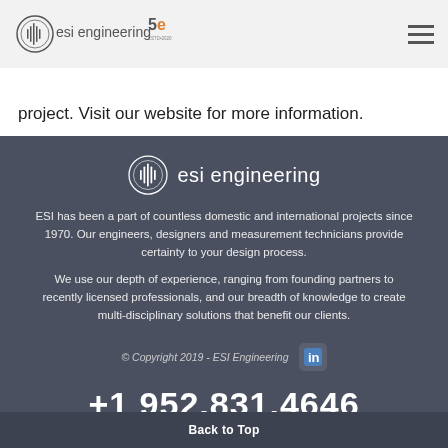[Figure (logo): ESI Engineering logo with 50th anniversary mark and hamburger menu icon in header bar]
provide a solution for the hardest aspect of your project.  Visit our website for more information.
[Figure (logo): ESI Engineering circular logo icon with text 'esi engineering' in white on dark background]
ESI has been a part of countless domestic and international projects since 1970. Our engineers, designers and measurement technicians provide certainty to your design process.
We use our depth of experience, ranging from founding partners to recently licensed professionals, and our breadth of knowledge to create multi-disciplinary solutions that benefit our clients.
© Copyright 2019 - ESI Engineering
+1 952.831.4646
Back to Top